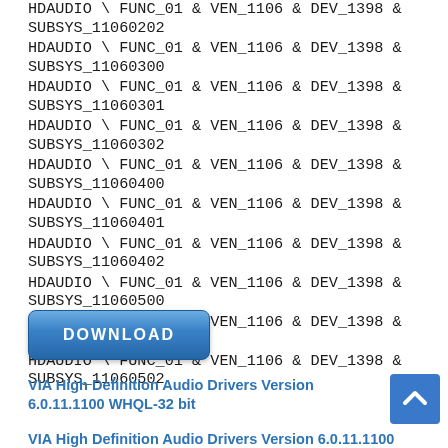HDAUDIO \ FUNC_01 & VEN_1106 & DEV_1398 & SUBSYS_11060202
HDAUDIO \ FUNC_01 & VEN_1106 & DEV_1398 & SUBSYS_11060300
HDAUDIO \ FUNC_01 & VEN_1106 & DEV_1398 & SUBSYS_11060301
HDAUDIO \ FUNC_01 & VEN_1106 & DEV_1398 & SUBSYS_11060302
HDAUDIO \ FUNC_01 & VEN_1106 & DEV_1398 & SUBSYS_11060400
HDAUDIO \ FUNC_01 & VEN_1106 & DEV_1398 & SUBSYS_11060401
HDAUDIO \ FUNC_01 & VEN_1106 & DEV_1398 & SUBSYS_11060402
HDAUDIO \ FUNC_01 & VEN_1106 & DEV_1398 & SUBSYS_11060500
HDAUDIO \ FUNC_01 & VEN_1106 & DEV_1398 & SUBSYS_11060501
HDAUDIO \ FUNC_01 & VEN_1106 & DEV_1398 & SUBSYS_11060502
[Figure (other): Blue DOWNLOAD button]
VIA High Definition Audio Drivers Version 6.0.11.1100 WHQL-32 bit
VIA High Definition Audio Drivers Version 6.0.11.1100